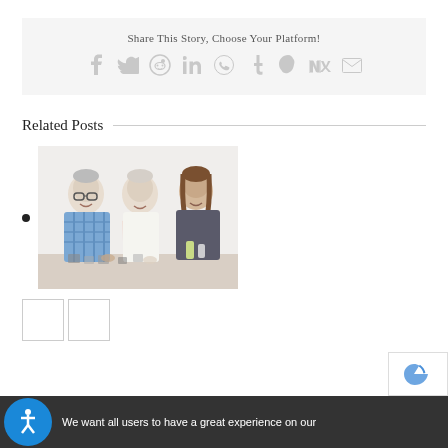Share This Story, Choose Your Platform!
[Figure (infographic): Social sharing icons: Facebook, Twitter, Reddit, LinkedIn, WhatsApp, Tumblr, Pinterest, VK, Email]
Related Posts
[Figure (photo): Two elderly people and a younger woman looking at puzzle pieces on a table]
We want all users to have a great experience on our